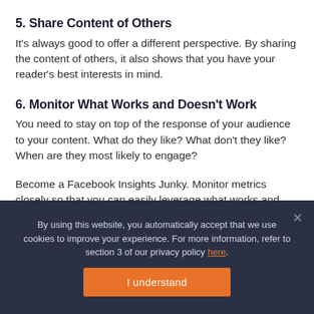5. Share Content of Others
It's always good to offer a different perspective. By sharing the content of others, it also shows that you have your reader's best interests in mind.
6. Monitor What Works and Doesn't Work
You need to stay on top of the response of your audience to your content. What do they like? What don't they like? When are they most likely to engage?
Become a Facebook Insights Junky. Monitor metrics closely so that you can easily leverage what works and adjust based on the results.
By using this website, you automatically accept that we use cookies to improve your experience. For more information, refer to section 3 of our privacy policy here.